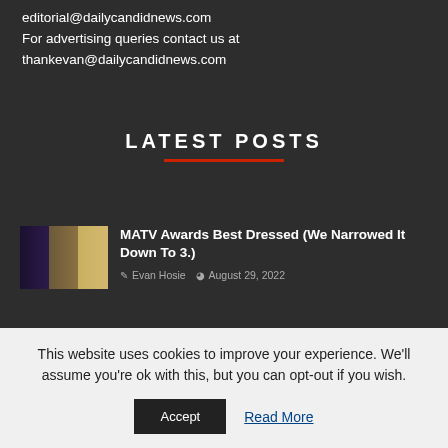editorial@dailycandidnews.com
For advertising queries contact us at thankevan@dailycandidnews.com
LATEST POSTS
[Figure (photo): Thumbnail image of celebrity fashion at MTV Awards - three people in formal/glamorous outfits]
MATV Awards Best Dressed (We Narrowed It Down To 3.)
Evan Hosie  August 29, 2022
[Figure (photo): Thumbnail image of MTV Movie Awards stage with blue lighting and M logo]
Highlights From The MTV Awards. Watch.
Evan Hosie  August 29, 2022
This website uses cookies to improve your experience. We'll assume you're ok with this, but you can opt-out if you wish.
Accept  Read More